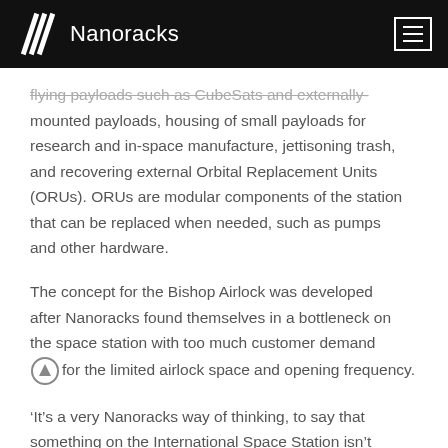Nanoracks
flying payloads such as CubeSats and externally-mounted payloads, housing of small payloads for research and in-space manufacture, jettisoning trash, and recovering external Orbital Replacement Units (ORUs). ORUs are modular components of the station that can be replaced when needed, such as pumps and other hardware.
The concept for the Bishop Airlock was developed after Nanoracks found themselves in a bottleneck on the space station with too much customer demand for the limited airlock space and opening frequency.
‘It’s a very Nanoracks way of thinking, to say that something on the International Space Station isn’t